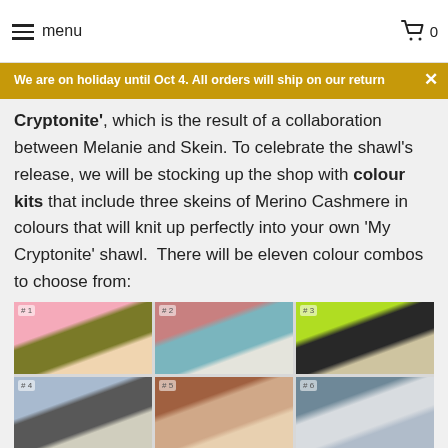menu  0
We are on holiday until Oct 4. All orders will ship on our return
Cryptonite', which is the result of a collaboration between Melanie and Skein. To celebrate the shawl's release, we will be stocking up the shop with colour kits that include three skeins of Merino Cashmere in colours that will knit up perfectly into your own 'My Cryptonite' shawl. There will be eleven colour combos to choose from:
[Figure (photo): Grid of yarn skein colour kit photos arranged in 2 rows of 3. Row 1: Kit #1 pink/olive/cream skeins, Kit #2 dusty rose/teal/white skeins, Kit #3 lime green/dark/tan skeins. Row 2: Kit #4 light blue-grey/charcoal skeins, Kit #5 brown/peach/cream skeins, Kit #6 steel blue/white/grey skeins.]